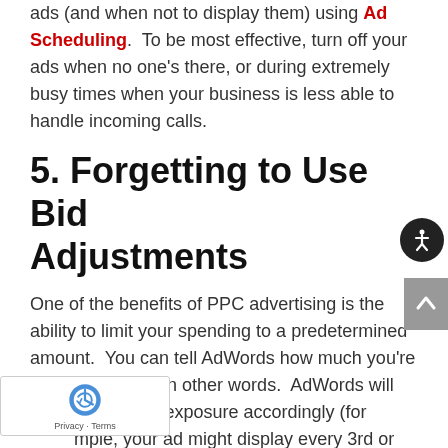ads (and when not to display them) using Ad Scheduling.  To be most effective, turn off your ads when no one's there, or during extremely busy times when your business is less able to handle incoming calls.
5. Forgetting to Use Bid Adjustments
One of the benefits of PPC advertising is the ability to limit your spending to a predetermined amount.  You can tell AdWords how much you're willing to spend, in other words.  AdWords will then limit ad's exposure accordingly (for ple, your ad might display every 3rd or 4th time your keywords are entered).